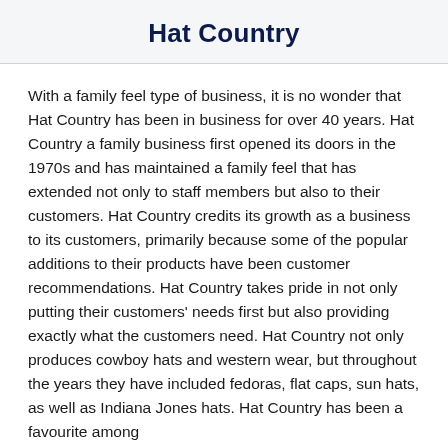Hat Country
With a family feel type of business, it is no wonder that Hat Country has been in business for over 40 years. Hat Country a family business first opened its doors in the 1970s and has maintained a family feel that has extended not only to staff members but also to their customers. Hat Country credits its growth as a business to its customers, primarily because some of the popular additions to their products have been customer recommendations. Hat Country takes pride in not only putting their customers' needs first but also providing exactly what the customers need. Hat Country not only produces cowboy hats and western wear, but throughout the years they have included fedoras, flat caps, sun hats, as well as Indiana Jones hats. Hat Country has been a favourite among